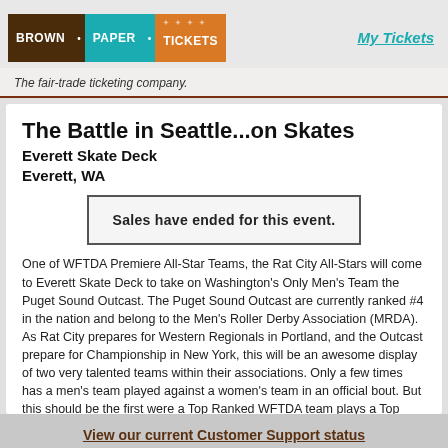[Figure (logo): Brown Paper Tickets logo with three colored blocks: brown, teal, and orange]
My Tickets
The fair-trade ticketing company.
The Battle in Seattle...on Skates
Everett Skate Deck
Everett, WA
Sales have ended for this event.
One of WFTDA Premiere All-Star Teams, the Rat City All-Stars will come to Everett Skate Deck to take on Washington's Only Men's Team the Puget Sound Outcast.  The Puget Sound Outcast are currently ranked #4 in the nation and belong to the Men's Roller Derby Association (MRDA).  As Rat City prepares for Western Regionals in Portland, and the Outcast prepare for Championship in New York, this will be an awesome display of two very talented teams within their associations.  Only a few times has a men's team played against a women's team in an official bout.  But this should be the first were a Top Ranked WFTDA team plays a Top Ranked MRDA team.  So don't miss this for anything, there is limited
View our current Customer Support status